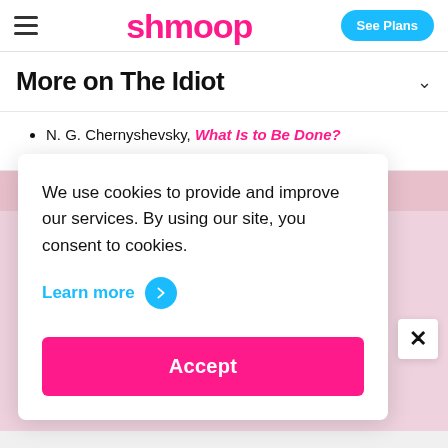shmoop | See Plans
More on The Idiot
N. G. Chernyshevsky, What Is to Be Done?
We use cookies to provide and improve our services. By using our site, you consent to cookies.
Learn more →
Accept